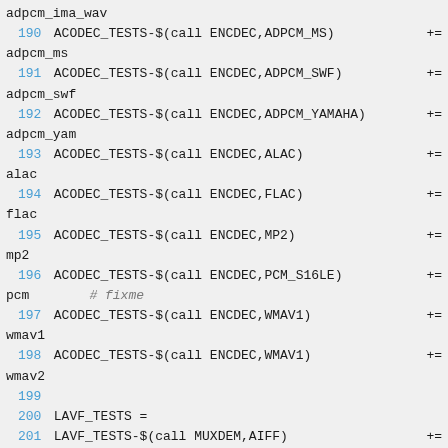adpcm_ima_wav (partial, top of page)
190 ACODEC_TESTS-$(call ENCDEC,ADPCM_MS) += adpcm_ms
191 ACODEC_TESTS-$(call ENCDEC,ADPCM_SWF) += adpcm_swf
192 ACODEC_TESTS-$(call ENCDEC,ADPCM_YAMAHA) += adpcm_yam
193 ACODEC_TESTS-$(call ENCDEC,ALAC) += alac
194 ACODEC_TESTS-$(call ENCDEC,FLAC) += flac
195 ACODEC_TESTS-$(call ENCDEC,MP2) += mp2
196 ACODEC_TESTS-$(call ENCDEC,PCM_S16LE) += pcm  # fixme
197 ACODEC_TESTS-$(call ENCDEC,WMAV1) += wmav1
198 ACODEC_TESTS-$(call ENCDEC,WMAV1) += wmav2
199
200 LAVF_TESTS =
201 LAVF_TESTS-$(call MUXDEM,AIFF) += aiff
202 LAVF_TESTS-$(call MUXDEM,PCM_ALAW) += alaw